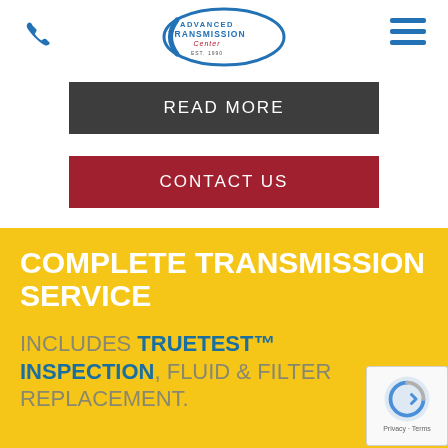[Figure (logo): Advanced Transmission Center logo with oval shape, blue and red text, 'EST. 1990']
READ MORE
CONTACT US
COMPLETE TRANSMISSION SERVICE
INCLUDES TRUETEST™ INSPECTION, FLUID & FILTER REPLACEMENT.